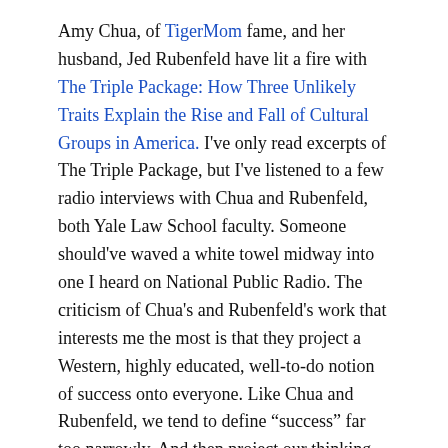Amy Chua, of TigerMom fame, and her husband, Jed Rubenfeld have lit a fire with The Triple Package: How Three Unlikely Traits Explain the Rise and Fall of Cultural Groups in America. I've only read excerpts of The Triple Package, but I've listened to a few radio interviews with Chua and Rubenfeld, both Yale Law School faculty. Someone should've waved a white towel midway into one I heard on National Public Radio. The criticism of Chua's and Rubenfeld's work that interests me the most is that they project a Western, highly educated, well-to-do notion of success onto everyone. Like Chua and Rubenfeld, we tend to define “success” far too narrowly. And then project our thinking onto our partners, our adolescent or adult children, and other people near and far.
There’s a magical, two-part elixir for this malady. Humility and curiosity. Instead of assuming a common definition of success, we need to learn to ask our partners, our adolescent or adult children, and other